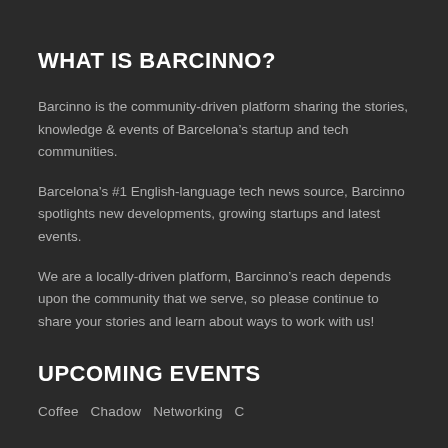WHAT IS BARCINNO?
Barcinno is the community-driven platform sharing the stories, knowledge & events of Barcelona’s startup and tech communities.
Barcelona’s #1 English-language tech news source, Barcinno spotlights new developments, growing startups and latest events.
We are a locally-driven platform, Barcinno’s reach depends upon the community that we serve, so please continue to share your stories and learn about ways to work with us!
UPCOMING EVENTS
Coffee   Chadow   Networking   C...